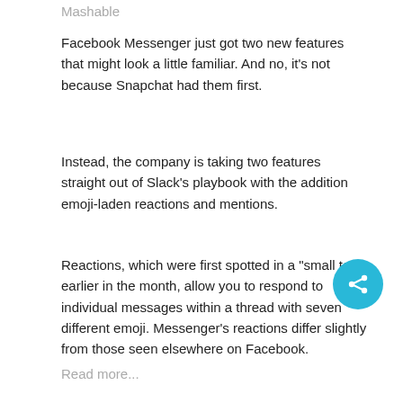Mashable
Facebook Messenger just got two new features that might look a little familiar. And no, it’s not because Snapchat had them first.
Instead, the company is taking two features straight out of Slack’s playbook with the addition emoji-laden reactions and mentions.
Reactions, which were first spotted in a “small test” earlier in the month, allow you to respond to individual messages within a thread with seven different emoji. Messenger’s reactions differ slightly from those seen elsewhere on Facebook.
Read more...